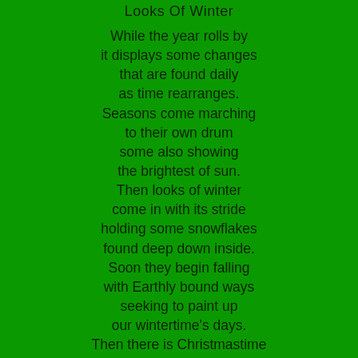Looks Of Winter
While the year rolls by
it displays some changes
that are found daily
as time rearranges.
Seasons come marching
to their own drum
some also showing
the brightest of sun.
Then looks of winter
come in with its stride
holding some snowflakes
found deep down inside.
Soon they begin falling
with Earthly bound ways
seeking to paint up
our wintertime's days.
Then there is Christmastime
found front and center
showing the beauty found
in looks of winter.